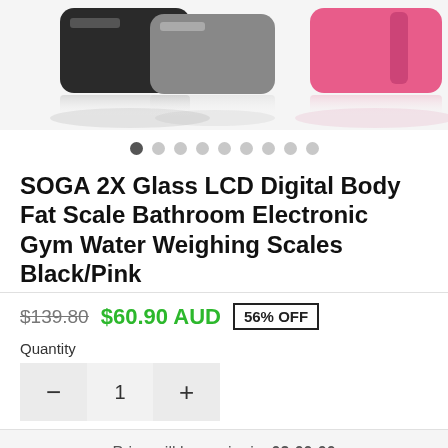[Figure (photo): Product image showing multiple bathroom scales in black and pink colors with reflections on white background]
• • • • • • • • • (carousel dots, first active)
SOGA 2X Glass LCD Digital Body Fat Scale Bathroom Electronic Gym Water Weighing Scales Black/Pink
$139.80  $60.90 AUD  56% OFF
Quantity
− 1 +
Price will be expire in: 02:00:00
BUY IT NOW !